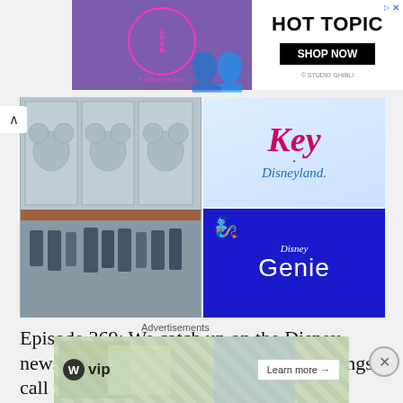[Figure (screenshot): Hot Topic advertisement banner with Harajuku Collective branding and two figures in purple outfits. Shows 'HOT TOPIC' and 'SHOP NOW' button, with '© STUDIO GHIBLI' text.]
[Figure (screenshot): Four-panel image grid: Magic Key / Disneyland logo image (top-left), Mickey Mouse silhouette etched glass panel (top-right and bottom-right spanning), Disney Genie blue promotional image (bottom-left).]
Episode 369: We catch up on the Disney news of the week. Disney had a big earnings call this
Advertisements
[Figure (screenshot): WordPress VIP advertisement with map background, showing WP VIP logo and 'Learn more →' button.]